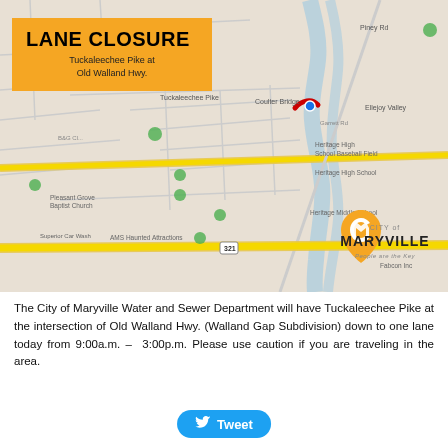[Figure (map): Google Maps screenshot showing the area around Tuckaleechee Pike at Old Walland Hwy intersection, with a red arc marking the lane closure location near Coulter Bridge. Heritage High School, Heritage Middle School, Pleasant Grove Baptist Church, Heritage High School Baseball Field labeled. City of Maryville logo visible in lower right of map.]
The City of Maryville Water and Sewer Department will have Tuckaleechee Pike at the intersection of Old Walland Hwy. (Walland Gap Subdivision) down to one lane today from 9:00a.m. – 3:00p.m. Please use caution if you are traveling in the area.